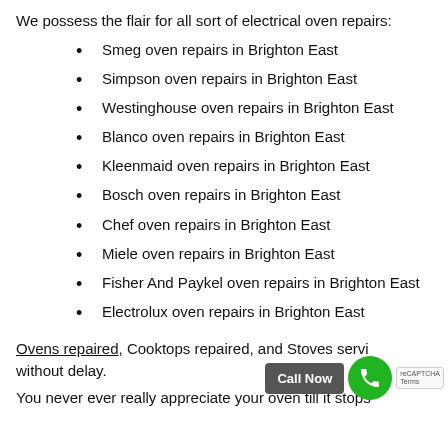We possess the flair for all sort of electrical oven repairs:
Smeg oven repairs in Brighton East
Simpson oven repairs in Brighton East
Westinghouse oven repairs in Brighton East
Blanco oven repairs in Brighton East
Kleenmaid oven repairs in Brighton East
Bosch oven repairs in Brighton East
Chef oven repairs in Brighton East
Miele oven repairs in Brighton East
Fisher And Paykel oven repairs in Brighton East
Electrolux oven repairs in Brighton East
Ovens repaired, Cooktops repaired, and Stoves serviced without delay.
You never ever really appreciate your oven till it stops